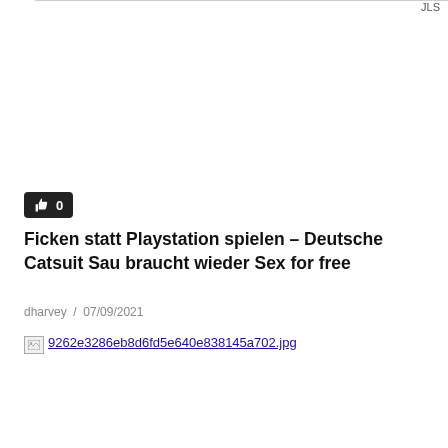JLS
[Figure (other): Like/thumbs-up button badge showing count 0]
Ficken statt Playstation spielen – Deutsche Catsuit Sau braucht wieder Sex for free
dharvey  /  07/09/2021
[Figure (other): Broken image placeholder with filename link: 9262e3286eb8d6fd5e640e838145a702.jpg]